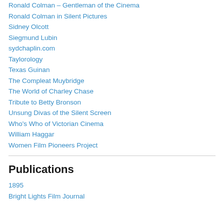Ronald Colman – Gentleman of the Cinema
Ronald Colman in Silent Pictures
Sidney Olcott
Siegmund Lubin
sydchaplin.com
Taylorology
Texas Guinan
The Compleat Muybridge
The World of Charley Chase
Tribute to Betty Bronson
Unsung Divas of the Silent Screen
Who's Who of Victorian Cinema
William Haggar
Women Film Pioneers Project
Publications
1895
Bright Lights Film Journal